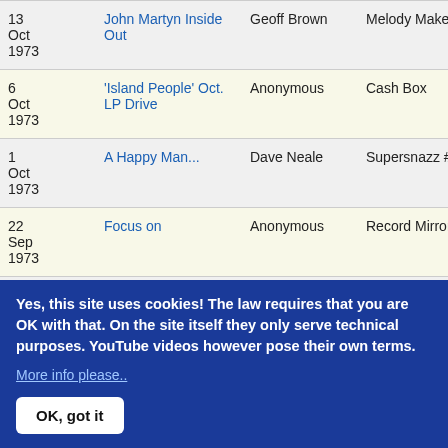| Date | Title | Author | Publication | Country |
| --- | --- | --- | --- | --- |
| 13 Oct 1973 | John Martyn Inside Out | Geoff Brown | Melody Maker | UK |
| 6 Oct 1973 | 'Island People' Oct. LP Drive | Anonymous | Cash Box | USA |
| 1 Oct 1973 | A Happy Man... | Dave Neale | Supersnazz #2 | UK |
| 22 Sep 1973 | Focus on | Anonymous | Record Mirror | UK |
| ... | Music On |  |  |  |
Yes, this site uses cookies! The law requires that you are OK with that. On the site itself they only serve technical purposes. YouTube videos however pose their own terms.
More info please..